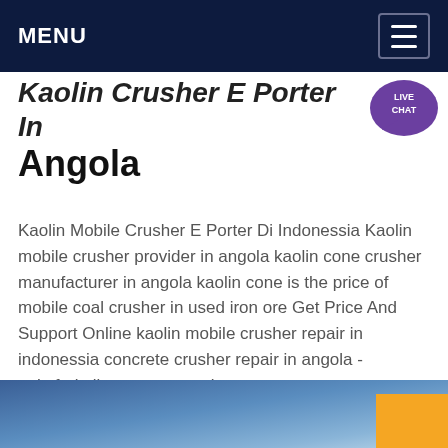MENU
Kaolin Crusher E Porter In Angola
Kaolin Mobile Crusher E Porter Di Indonessia Kaolin mobile crusher provider in angola kaolin cone crusher manufacturer in angola kaolin cone is the price of mobile coal crusher in used iron ore Get Price And Support Online kaolin mobile crusher repair in indonessia concrete crusher repair in angola - palmfruitoilcoza concrete impact
[Figure (other): Get price button - yellow/amber rectangular button with bold text]
[Figure (other): Blue circular chat/messaging icon with ellipsis dots]
[Figure (photo): Blue gradient background image strip at bottom of page with yellow rectangle in lower right corner]